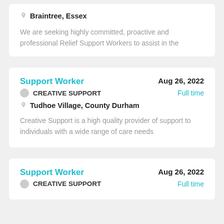Braintree, Essex
We are seeking highly committed, proactive and professional Relief Support Workers to assist in the
Support Worker
Aug 26, 2022
CREATIVE SUPPORT
Full time
Tudhoe Village, County Durham
Creative Support is a high quality provider of support to individuals with a wide range of care needs
Support Worker
Aug 26, 2022
CREATIVE SUPPORT
Full time